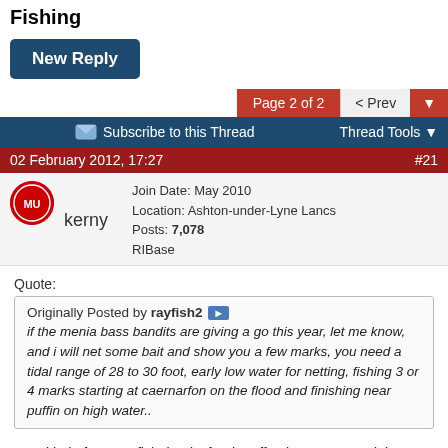Fishing
New Reply
Page 2 of 2  < Prev
Subscribe to this Thread   Thread Tools
02 February 2012, 17:27   #21
kerny
Join Date: May 2010
Location: Ashton-under-Lyne Lancs
Posts: 7,078
RIBase
Quote:
Originally Posted by rayfish2
if the menia bass bandits are giving a go this year, let me know, and i will net some bait and show you a few marks, you need a tidal range of 28 to 30 foot, early low water for netting, fishing 3 or 4 marks starting at caernarfon on the flood and finishing near puffin on high water..
Very kind of you rayfish thanks for the offer, hope you can join up with